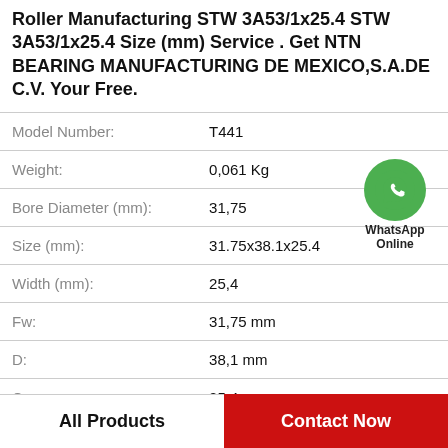Roller Manufacturing STW 3A53/1x25.4 STW 3A53/1x25.4 Size (mm) Service . Get NTN BEARING MANUFACTURING DE MEXICO,S.A.DE C.V. Your Free.
| Property | Value |
| --- | --- |
| Model Number: | T441 |
| Weight: | 0,061 Kg |
| Bore Diameter (mm): | 31,75 |
| Size (mm): | 31.75x38.1x25.4 |
| Width (mm): | 25,4 |
| Fw: | 31,75 mm |
| D: | 38,1 mm |
| C: | 25,4 |
[Figure (logo): WhatsApp Online green circle phone icon with label WhatsApp Online]
All Products
Contact Now